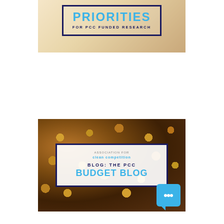[Figure (illustration): A hand holding a card/sign with the text 'PRIORITIES FOR PCC FUNDED RESEARCH' in bold blue and dark navy letters on a light warm background with a dark navy border.]
[Figure (illustration): A background of scattered coins (pennies and other coins) with a white box overlaid reading 'BLOG: THE PCC BUDGET BLOG' with a small 'clean competition' logo at top, and a blue chat/smiley icon in the bottom right corner.]